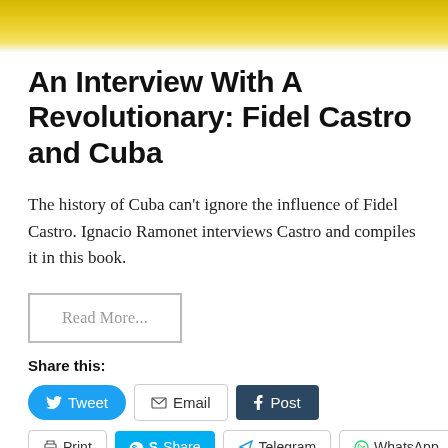[Figure (photo): Partial view of a yellow object (book cover) at the top of the page]
An Interview With A Revolutionary: Fidel Castro and Cuba
The history of Cuba can't ignore the influence of Fidel Castro. Ignacio Ramonet interviews Castro and compiles it in this book.
Read More...
Share this:
Tweet | Email | Post
Print | Share | Telegram | WhatsApp | Save | 3
Pocket | 0 | Stumbleupon | Share